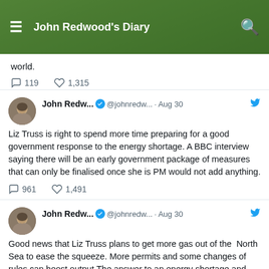John Redwood's Diary
world.
119  1,315
John Redw... @johnredw... · Aug 30 — Liz Truss is right to spend more time preparing for a good government response to the energy shortage. A BBC interview saying there will be an early government package of measures that can only be finalised once she is PM would not add anything.
961  1,491
John Redw... @johnredw... · Aug 30 — Good news that Liz Truss plans to get more gas out of the North Sea to ease the squeeze. More permits and some changes of rules can boost output.The answer to an energy shortage and